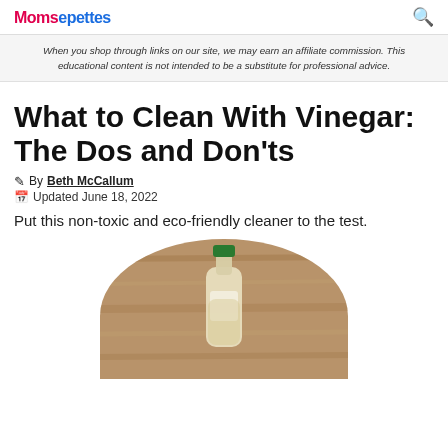MomsepetteS [logo] [search icon]
When you shop through links on our site, we may earn an affiliate commission. This educational content is not intended to be a substitute for professional advice.
What to Clean With Vinegar: The Dos and Don'ts
By Beth McCallum
Updated June 18, 2022
Put this non-toxic and eco-friendly cleaner to the test.
[Figure (photo): A bottle of vinegar with a green cap, sitting on a wooden surface, shown in a circular crop.]